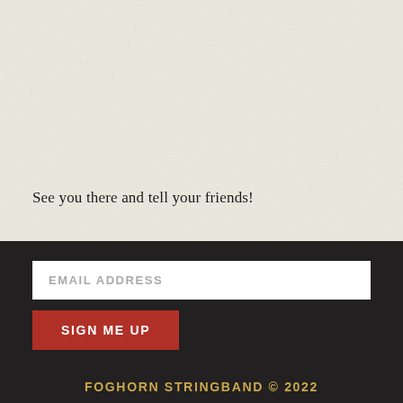See you there and tell your friends!
EMAIL ADDRESS
SIGN ME UP
FOGHORN STRINGBAND © 2022